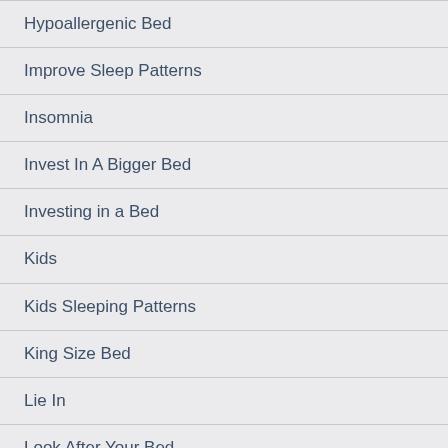Hypoallergenic Bed
Improve Sleep Patterns
Insomnia
Invest In A Bigger Bed
Investing in a Bed
Kids
Kids Sleeping Patterns
King Size Bed
Lie In
Look After Your Bed
Lower Back Pain